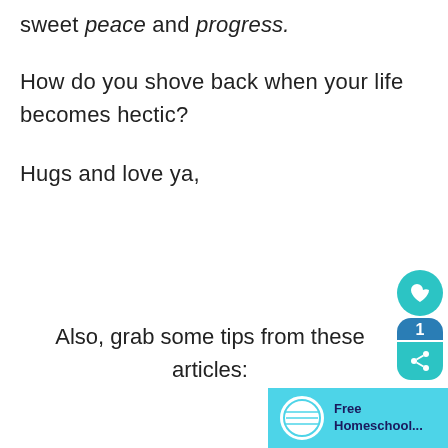sweet peace and progress.
How do you shove back when your life becomes hectic?
Hugs and love ya,
Also, grab some tips from these articles: